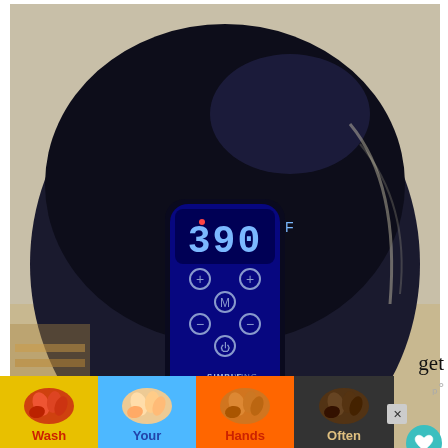[Figure (photo): Air fryer with blue LED display showing 390°F, branded 'SIMPLE LIVING PRODUCTS', with control buttons visible, sitting on a kitchen counter]
We made little chicken fingers. strips of chicken breast into 1) flour 2) egg 3) panko. We used the product to get
[Figure (infographic): WHAT'S NEXT -> Jese Air Fryer Review &... with small air fryer thumbnail image]
[Figure (infographic): Advertisement banner: Wash Your Hands Often - showing illustrated hands in four skin tones on colored backgrounds (yellow, blue, orange, dark), with an X close button]